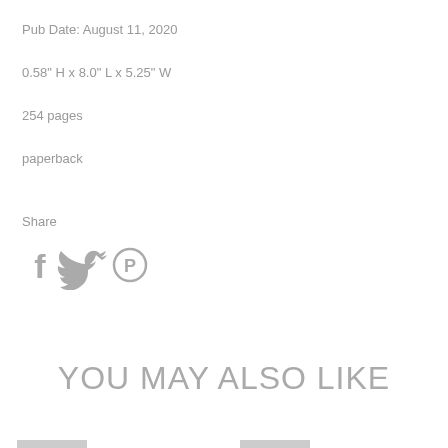Pub Date: August 11, 2020
0.58" H x 8.0" L x 5.25" W
254 pages
paperback
Share
[Figure (infographic): Social share icons: Facebook (f), Twitter (bird), Pinterest (P)]
YOU MAY ALSO LIKE